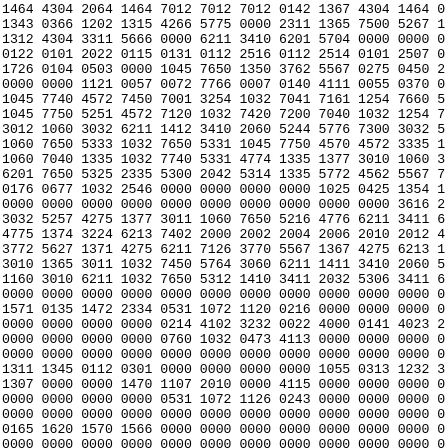| 1464 | 4304 | 2064 | 1464 | 7012 | 7012 | 7012 | 0142 | 1367 | 4304 | 1464 | 0 |
| 1343 | 0366 | 1202 | 1315 | 4266 | 5775 | 0000 | 2311 | 1365 | 7500 | 5267 | 1 |
| 1312 | 4304 | 3311 | 5666 | 0000 | 6211 | 3410 | 6201 | 5704 | 0000 | 0000 | 0 |
| 0122 | 0101 | 2022 | 0115 | 0131 | 0112 | 2516 | 0112 | 2514 | 0101 | 2507 | 0 |
| 1726 | 0104 | 0503 | 0000 | 1045 | 7650 | 1350 | 3762 | 5567 | 0275 | 0450 | 2 |
| 0000 | 0000 | 1121 | 0057 | 0072 | 7766 | 0007 | 0140 | 4111 | 0055 | 0370 | 0 |
| 1045 | 7740 | 4572 | 7450 | 7001 | 3254 | 1032 | 7041 | 7161 | 1254 | 7660 | 5 |
| 1045 | 7750 | 5251 | 4572 | 7120 | 1032 | 7420 | 7200 | 7040 | 1032 | 1254 | 7 |
| 3012 | 1060 | 3032 | 6211 | 1412 | 3410 | 2060 | 5244 | 5776 | 7300 | 3032 | 5 |
| 1060 | 7650 | 5333 | 1032 | 7650 | 5331 | 1045 | 7750 | 4570 | 4572 | 3335 | 1 |
| 1060 | 7040 | 1335 | 1032 | 7740 | 5331 | 4774 | 1335 | 1377 | 3010 | 1060 | 3 |
| 6201 | 7650 | 5325 | 2335 | 5300 | 2042 | 5314 | 1335 | 5772 | 4562 | 5567 | 7 |
| 0176 | 0677 | 1032 | 2546 | 0000 | 0000 | 0000 | 0000 | 1025 | 0425 | 1354 | 1 |
| 0000 | 0000 | 0000 | 0000 | 0000 | 0000 | 0000 | 0000 | 0000 | 0000 | 3616 | 2 |
| 3032 | 5257 | 4275 | 1377 | 3011 | 1060 | 7650 | 5216 | 4776 | 6211 | 3411 | 6 |
| 4775 | 1374 | 3224 | 6213 | 7402 | 2000 | 2002 | 2004 | 2006 | 2010 | 2012 | 4 |
| 3772 | 5627 | 1371 | 4275 | 6211 | 7126 | 3770 | 5567 | 1367 | 4275 | 6213 | 1 |
| 3010 | 1365 | 3011 | 1032 | 7450 | 5764 | 3060 | 6211 | 1411 | 3410 | 2060 | 5 |
| 1160 | 3010 | 6211 | 1032 | 7650 | 5312 | 1410 | 3411 | 2032 | 5306 | 3411 | 6 |
| 0000 | 0000 | 0000 | 0000 | 0000 | 0000 | 0000 | 0000 | 0000 | 0000 | 0000 | 0 |
| 1571 | 0135 | 1472 | 2334 | 0531 | 1072 | 1120 | 0216 | 0000 | 0000 | 0000 | 0 |
| 0000 | 0000 | 0000 | 0000 | 0214 | 4102 | 3232 | 0022 | 4000 | 0141 | 4023 | 2 |
| 0000 | 0000 | 0000 | 0000 | 0760 | 1032 | 0473 | 4113 | 0000 | 0000 | 0000 | 0 |
| 0000 | 0000 | 0000 | 0000 | 0000 | 0000 | 0000 | 0000 | 0000 | 0000 | 0000 | 0 |
| 1311 | 1345 | 0112 | 0301 | 0000 | 0000 | 0000 | 0000 | 1055 | 0313 | 1232 | 3 |
| 1307 | 0000 | 0000 | 1470 | 1107 | 2010 | 0000 | 4115 | 0000 | 0000 | 0000 | 0 |
| 0000 | 0000 | 0000 | 0000 | 0531 | 1072 | 1126 | 0243 | 0000 | 0000 | 0000 | 0 |
| 0000 | 0000 | 0000 | 0000 | 0000 | 0000 | 0000 | 0000 | 0000 | 0000 | 0000 | 0 |
| 0165 | 1620 | 1570 | 1566 | 0000 | 0000 | 0000 | 0000 | 0000 | 0000 | 0000 | 0 |
| 0000 | 0000 | 0000 | 0000 | 0000 | 0000 | 0000 | 0000 | 0000 | 0000 | 0000 | 0 |